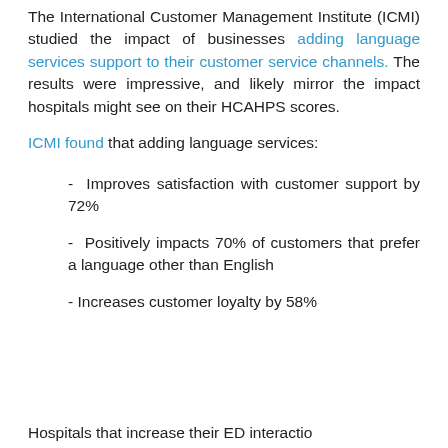The International Customer Management Institute (ICMI) studied the impact of businesses adding language services support to their customer service channels. The results were impressive, and likely mirror the impact hospitals might see on their HCAHPS scores.
ICMI found that adding language services:
- Improves satisfaction with customer support by 72%
- Positively impacts 70% of customers that prefer a language other than English
- Increases customer loyalty by 58%
Hospitals that increase their ED interaction...